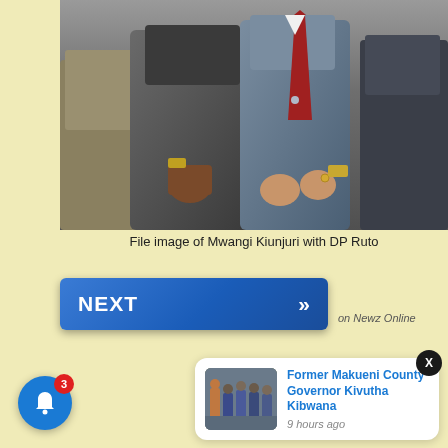[Figure (photo): File image of several men in suits, cropped at chest/waist level, standing together. One wearing a red/maroon tie visible on right side.]
File image of Mwangi Kiunjuri with DP Ruto
[Figure (other): NEXT button with double chevron arrows, blue gradient background, with 'on Newz Online' text beside it]
[Figure (other): Notification popup card showing thumbnail image of group of people, title 'Former Makueni County Governor Kivutha Kibwana', timestamp '9 hours ago'. Close X button top right. Blue bell icon with badge showing 3 notifications bottom left.]